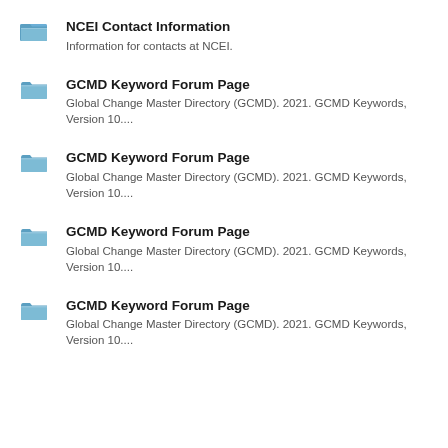NCEI Contact Information
Information for contacts at NCEI.
GCMD Keyword Forum Page
Global Change Master Directory (GCMD). 2021. GCMD Keywords, Version 10....
GCMD Keyword Forum Page
Global Change Master Directory (GCMD). 2021. GCMD Keywords, Version 10....
GCMD Keyword Forum Page
Global Change Master Directory (GCMD). 2021. GCMD Keywords, Version 10....
GCMD Keyword Forum Page
Global Change Master Directory (GCMD). 2021. GCMD Keywords, Version 10....